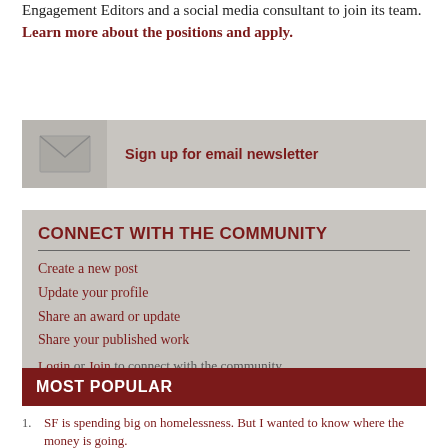Engagement Editors and a social media consultant to join its team. Learn more about the positions and apply.
[Figure (infographic): Gray box with envelope icon and 'Sign up for email newsletter' link]
CONNECT WITH THE COMMUNITY
Create a new post
Update your profile
Share an award or update
Share your published work
Login or Join to connect with the community.
MOST POPULAR
SF is spending big on homelessness. But I wanted to know where the money is going.
Why doesn't California have more Latino doctors?